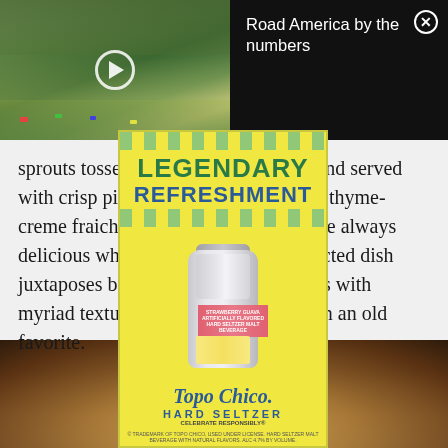[Figure (photo): Aerial or elevated view of Road America racetrack with cars, green fields, and spectator areas visible]
Road America by the numbers
sprouts tossed with fermented honey and served with crisp pie crust pieces, pecans and thyme-creme fraiche ($6). Brussels sprouts are always delicious when fried. But, this unexpected dish juxtaposes both sweet and salty flavors with myriad textures, creating a new take on an old favorite.
[Figure (photo): Food photo at bottom of page, appears to show a dish with golden/yellow tones]
[Figure (other): Advertisement overlay: Topo Chico Hard Seltzer Strawberry Guava advertisement with LEGENDARY REFRESHMENT text and can image on yellow background with green checker borders]